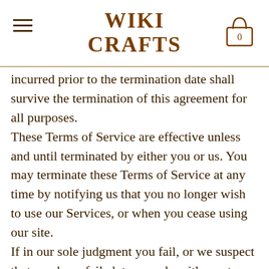WIKI CRAFTS
incurred prior to the termination date shall survive the termination of this agreement for all purposes. These Terms of Service are effective unless and until terminated by either you or us. You may terminate these Terms of Service at any time by notifying us that you no longer wish to use our Services, or when you cease using our site. If in our sole judgment you fail, or we suspect that you have failed, to comply with any term or provision of these Terms of Service, we also may terminate this agreement at any time